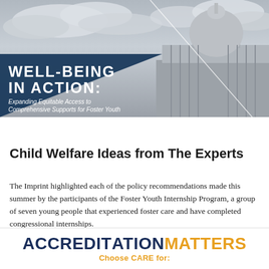[Figure (photo): Black and white photo of the U.S. Capitol dome with a dark navy blue triangular overlay on the lower left containing the text 'WELL-BEING IN ACTION:' in bold white uppercase letters and the subtitle 'Expanding Equitable Access to Comprehensive Supports for Foster Youth' in white italic text.]
Child Welfare Ideas from The Experts
The Imprint highlighted each of the policy recommendations made this summer by the participants of the Foster Youth Internship Program, a group of seven young people that experienced foster care and have completed congressional internships.
[Figure (infographic): ACCREDITATION MATTERS banner with 'ACCREDITATION' in dark navy bold and 'MATTERS' in gold bold, followed by 'Choose CARE for:' in gold text below.]